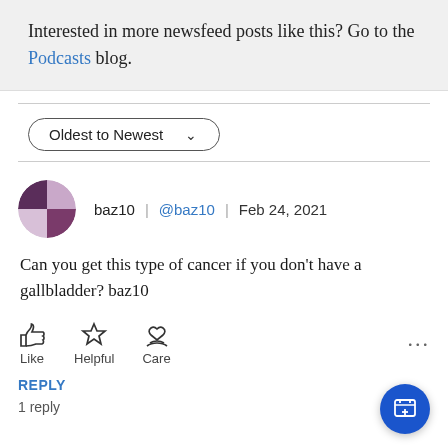Interested in more newsfeed posts like this? Go to the Podcasts blog.
[Figure (other): Sort dropdown button labeled 'Oldest to Newest' with chevron]
[Figure (other): User avatar for baz10 - circular purple quadrant avatar]
baz10 | @baz10 | Feb 24, 2021
Can you get this type of cancer if you don't have a gallbladder? baz10
[Figure (other): Reaction icons: Like (thumbs up), Helpful (star), Care (heart in hands), and more options (...)]
REPLY
1 reply